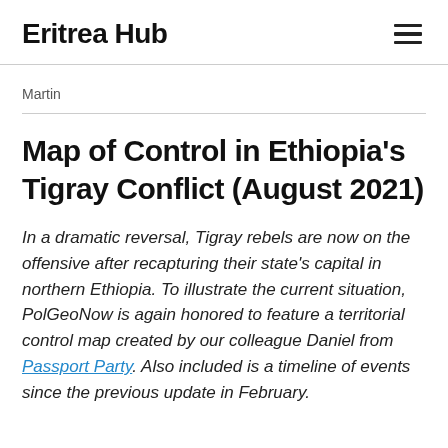Eritrea Hub
Martin
Map of Control in Ethiopia's Tigray Conflict (August 2021)
In a dramatic reversal, Tigray rebels are now on the offensive after recapturing their state's capital in northern Ethiopia. To illustrate the current situation, PolGeoNow is again honored to feature a territorial control map created by our colleague Daniel from Passport Party. Also included is a timeline of events since the previous update in February.